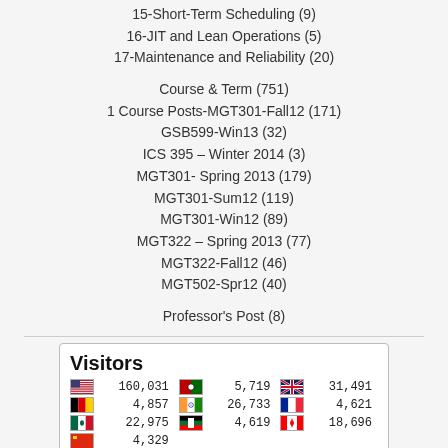15-Short-Term Scheduling (9)
16-JIT and Lean Operations (5)
17-Maintenance and Reliability (20)
Course & Term (751)
1 Course Posts-MGT301-Fall12 (171)
GSB599-Win13 (32)
ICS 395 – Winter 2014 (3)
MGT301- Spring 2013 (179)
MGT301-Sum12 (119)
MGT301-Win12 (89)
MGT322 – Spring 2013 (77)
MGT322-Fall12 (46)
MGT502-Spr12 (40)
Professor's Post (8)
[Figure (infographic): Visitors widget showing country flags and visitor counts: US 160,031; UK 31,491; India 26,733; Mexico/flag 22,975; Canada 18,696; Kenya 5,719; Germany 4,857; France 4,621; UAE 4,619; another country 4,329]